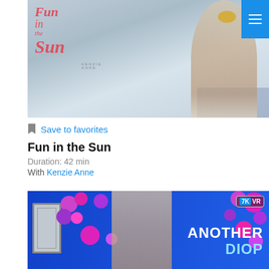[Figure (photo): Promotional poster for 'Fun in the Sun' featuring Kenzie Anne in a gold bikini, kneeling on a light background with cursive pink 'Fun in the Sun' text overlay]
[Figure (logo): Blue hamburger menu button in top right corner with three white horizontal lines]
Save to favorites
Fun in the Sun
Duration: 42 min
With Kenzie Anne
[Figure (photo): Promotional banner for 'Another' production featuring a woman with long hair smiling, surrounded by pink and purple balloons on a blue background, with '7K VR' badge in top right and 'ANOTHER' text in white bold letters]